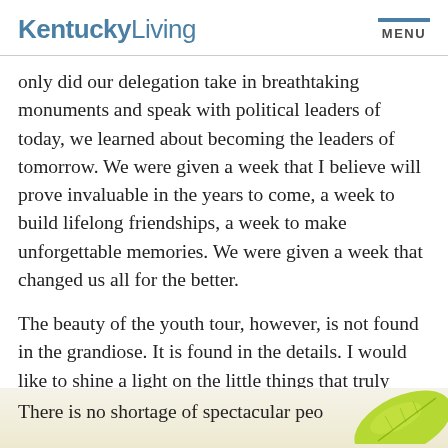KentuckyLiving | MENU
only did our delegation take in breathtaking monuments and speak with political leaders of today, we learned about becoming the leaders of tomorrow. We were given a week that I believe will prove invaluable in the years to come, a week to build lifelong friendships, a week to make unforgettable memories. We were given a week that changed us all for the better.
The beauty of the youth tour, however, is not found in the grandiose. It is found in the details. I would like to shine a light on the little things that truly make the Washington Youth Tour what it is.
There is no shortage of spectacular peo